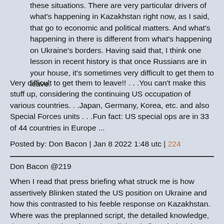these situations. There are very particular drivers of what's happening in Kazakhstan right now, as I said, that go to economic and political matters. And what's happening in there is different from what's happening on Ukraine's borders. Having said that, I think one lesson in recent history is that once Russians are in your house, it's sometimes very difficult to get them to leave.
Very difficult to get them to leave!! . . .You can't make this stuff up, considering the continuing US occupation of various countries. . .Japan, Germany, Korea, etc. and also Special Forces units . . .Fun fact: US special ops are in 33 of 44 countries in Europe ...
Posted by: Don Bacon | Jan 8 2022 1:48 utc | 224
Don Bacon @219
When I read that press briefing what struck me is how assertively Blinken stated the US position on Ukraine and how this contrasted to his feeble response on Kazakhstan. Where was the preplanned script, the detailed knowledge, the condemnation of Russia? Blinken is floundering, in my view, because the while thing has taken him (and the State Department) by surprise.